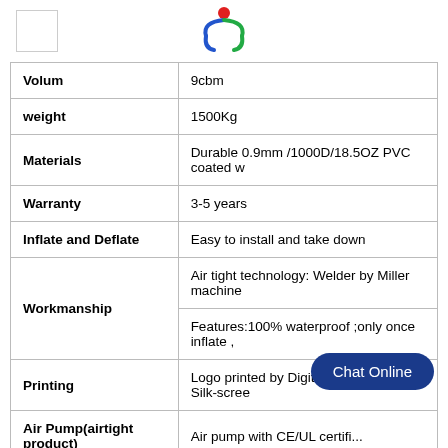[Figure (logo): Company logo with colorful arc and dot design, centered at top]
| Volum | 9cbm |
| weight | 1500Kg |
| Materials | Durable 0.9mm /1000D/18.5OZ PVC coated w... |
| Warranty | 3-5 years |
| Inflate and Deflate | Easy to install and take down |
| Workmanship | Air tight technology: Welder by Miller machine...
Features:100% waterproof ;only once inflate ,... |
| Printing | Logo printed by Digitally printing or Silk-scree... |
| Air Pump(airtight product) | Air pump with CE/UL certificates, 110V/220V... |
| Accessories | Blower or air pump ,repair Kit ;Glue ;Carry ba... |
Chat Online